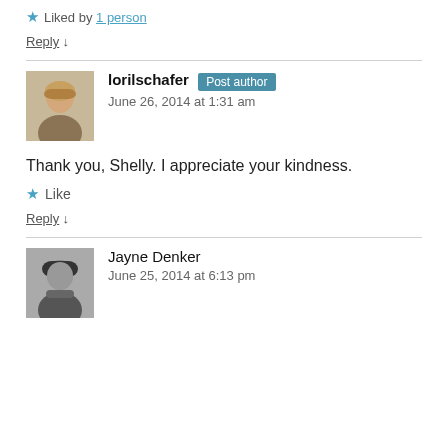★ Liked by 1 person
Reply ↓
lorilschafer Post author
June 26, 2014 at 1:31 am
Thank you, Shelly. I appreciate your kindness.
★ Like
Reply ↓
Jayne Denker
June 25, 2014 at 6:13 pm